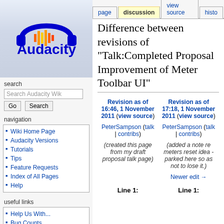[Figure (logo): Audacity logo: blue headphones with orange/yellow sound wave in center, with 'Audacity®' text in blue below]
search
Search Audacity Wiki
Go  Search
navigation
Wiki Home Page
Audacity Versions
Tutorials
Tips
Feature Requests
Index of All Pages
Help
useful links
Help Us With...
Bug Counts
page  discussion  view source  histo...
Difference between revisions of "Talk:Completed Proposal Improvement of Meter Toolbar UI"
| Revision as of 16:46, 1 November 2011 | Revision as of 17:18, 1 November 2011 |
| --- | --- |
| PeterSampson (talk | contribs) | PeterSampson (talk | contribs) |
| (created this page from my draft proposal talk page) | (added a note re meters reset idea - parked here so as not to lose it.) |
|  | Newer edit → |
| Line 1: | Line 1: |